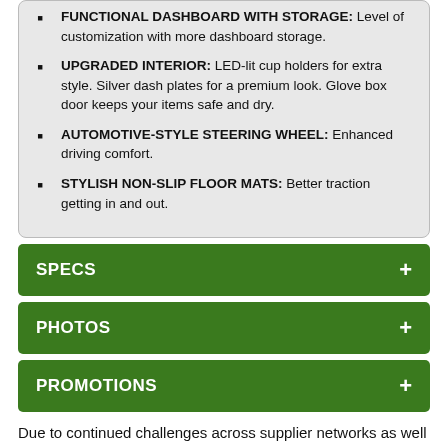FUNCTIONAL DASHBOARD WITH STORAGE: Level of customization with more dashboard storage.
UPGRADED INTERIOR: LED-lit cup holders for extra style. Silver dash plates for a premium look. Glove box door keeps your items safe and dry.
AUTOMOTIVE-STYLE STEERING WHEEL: Enhanced driving comfort.
STYLISH NON-SLIP FLOOR MATS: Better traction getting in and out.
SPECS
PHOTOS
PROMOTIONS
Due to continued challenges across supplier networks as well as increasing logistics costs, product pricing, freight charges, specifications, and features are subject to